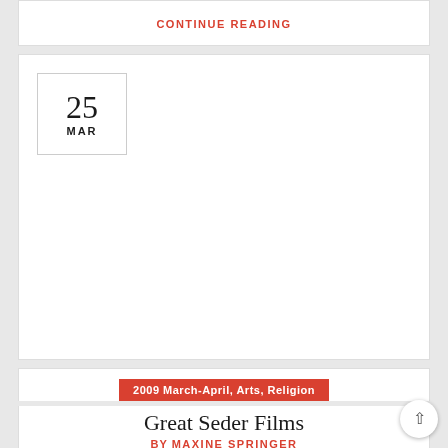CONTINUE READING
25
MAR
2009 March-April, Arts, Religion
Great Seder Films
BY MAXINE SPRINGER